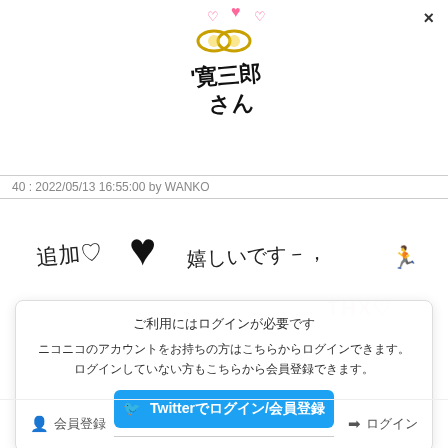[Figure (illustration): Top-center decorative illustration with a cute character/sticker showing a cartoon face with hearts and the text '寛三郎さん' in stylized handwritten Japanese script]
40 : 2022/05/13 16:55:00 by WANKO
[Figure (illustration): Handwritten Japanese text reading '追加♡ ♥ 嬉しいです－，' with a large black heart and a small running figure illustration]
[Figure (illustration): Watermark text 'THX♡' in pink stylized font]
×
ご利用にはログインが必要です
ニコニコのアカウントをお持ちの方はこちらからログインできます。ログインしていない方もこちらから会員登録できます。
Twitterでログイン/会員登録
🧑‍🤝‍🧑 会員登録
➡ ログイン